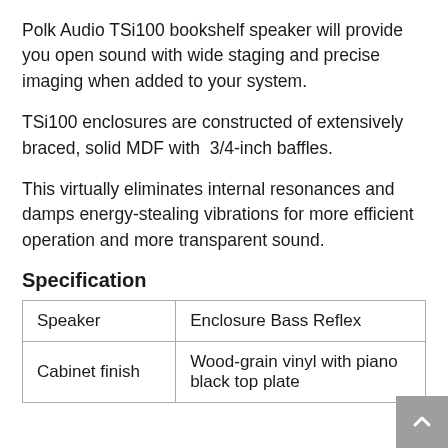Polk Audio TSi100 bookshelf speaker will provide you open sound with wide staging and precise imaging when added to your system.
TSi100 enclosures are constructed of extensively braced, solid MDF with  3/4-inch baffles.
This virtually eliminates internal resonances and damps energy-stealing vibrations for more efficient operation and more transparent sound.
Specification
| Speaker | Enclosure Bass Reflex |
| --- | --- |
| Cabinet finish | Wood-grain vinyl with piano black top plate |